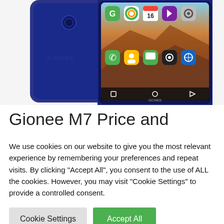[Figure (photo): Photo of a Gionee M7 smartphone showing the back and front of the device. The front screen displays a home screen with app icons including phone, contacts, messages, camera, and browser apps, with a landscape wallpaper. The device is navy blue.]
Gionee M7 Price and
We use cookies on our website to give you the most relevant experience by remembering your preferences and repeat visits. By clicking “Accept All”, you consent to the use of ALL the cookies. However, you may visit “Cookie Settings” to provide a controlled consent.
Cookie Settings
Accept All